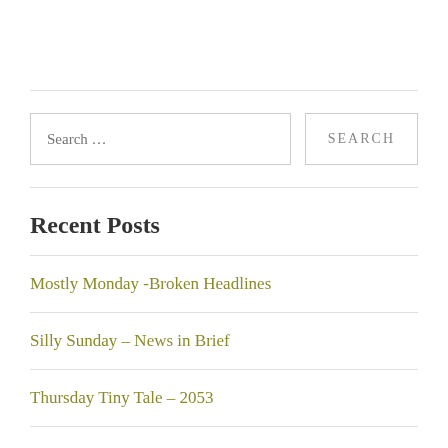[Figure (screenshot): Search bar UI with text input placeholder 'Search …' and a SEARCH button]
Recent Posts
Mostly Monday -Broken Headlines
Silly Sunday – News in Brief
Thursday Tiny Tale – 2053
Silly Saturday – Teacups and Taxis